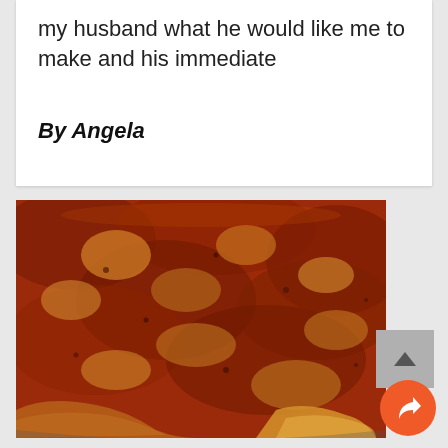my husband what he would like me to make and his immediate
By Angela
[Figure (photo): Close-up photo of a deep-dish pizza with thick tomato sauce and melted cheese in a dark pan, with a slice pulled away showing the cheesy interior.]